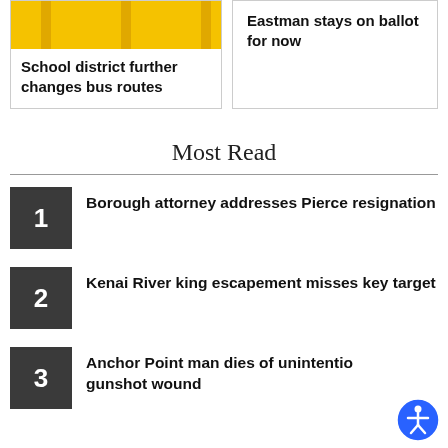[Figure (photo): Partial view of a yellow school bus (top portion visible)]
School district further changes bus routes
Eastman stays on ballot for now
Most Read
1 Borough attorney addresses Pierce resignation
2 Kenai River king escapement misses key target
3 Anchor Point man dies of unintentional gunshot wound